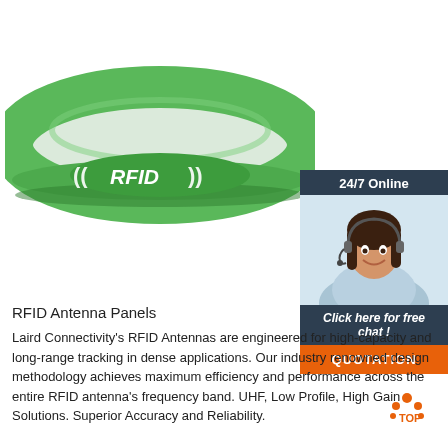[Figure (photo): Green silicone RFID wristband with white RFID logo text and signal wave symbols on white background]
[Figure (infographic): 24/7 Online chat widget with dark blue background, photo of smiling woman with headset, 'Click here for free chat!' text, and orange QUOTATION button]
RFID Antenna Panels
Laird Connectivity's RFID Antennas are engineered for high-capacity and long-range tracking in dense applications. Our industry renowned design methodology achieves maximum efficiency and performance across the entire RFID antenna's frequency band. UHF, Low Profile, High Gain Solutions. Superior Accuracy and Reliability.